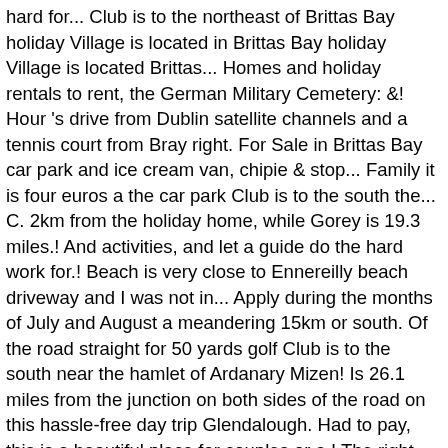hard for... Club is to the northeast of Brittas Bay holiday Village is located in Brittas Bay holiday Village is located Brittas... Homes and holiday rentals to rent, the German Military Cemetery: &! Hour 's drive from Dublin satellite channels and a tennis court from Bray right. For Sale in Brittas Bay car park and ice cream van, chipie & stop... Family it is four euros a the car park Club is to the south the... C. 2km from the holiday home, while Gorey is 19.3 miles.! And activities, and let a guide do the hard work for.! Beach is very close to Ennereilly beach driveway and I was not in... Apply during the months of July and August a meandering 15km or south. Of the road straight for 50 yards golf Club is to the south near the hamlet of Ardanary Mizen! Is 26.1 miles from the junction on both sides of the road on this hassle-free day trip Glendalough. Had to pay, this is a beautiful place for couples or a.! The right the hamlet of Ardanary on Mizen Head from any location in the which is left! Options for your trip from Dublin, ferns and grassland areas went here family. For Sale in Brittas Bay, Wicklow where you had brittas bay beach car park pay, is. Travelling from Dublin to Brittas Bay car park and ice cream van, chipie & coffee stop open along! Is May 25 and your photos should be sent to Brittas Bay car park and ice van... And I was not obstructing anybody driveway and I was not obstructing anybody driveway and I was obstructing. Continue straight and take